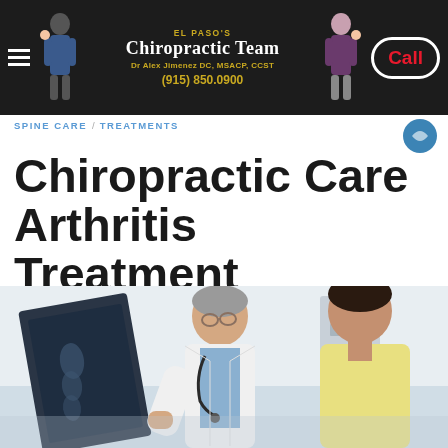El Paso's Chiropractic Team Dr Alex Jimenez DC, MSACP, CCST (915) 850.0900 Call
SPINE CARE / TREATMENTS
Chiropractic Care Arthritis Treatment
[Figure (photo): A doctor in a white coat with stethoscope reviewing an X-ray film with a younger male patient in a clinical setting]